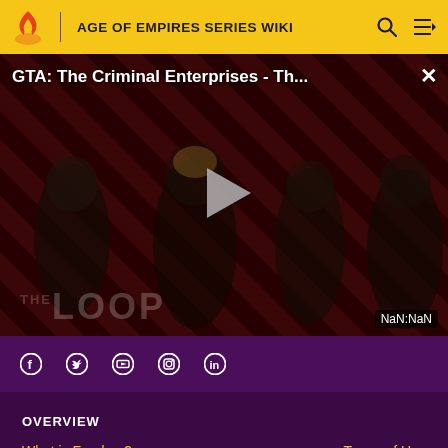AGE OF EMPIRES SERIES WIKI
[Figure (screenshot): Video player showing GTA: The Criminal Enterprises - Th... with play button, THE LOOP logo watermark, and NaN:NaN timestamp. Background has red and black diagonal stripes with characters from the game.]
f  Twitter  YouTube  Instagram  in
OVERVIEW
What is Fandom?    Terms of Use